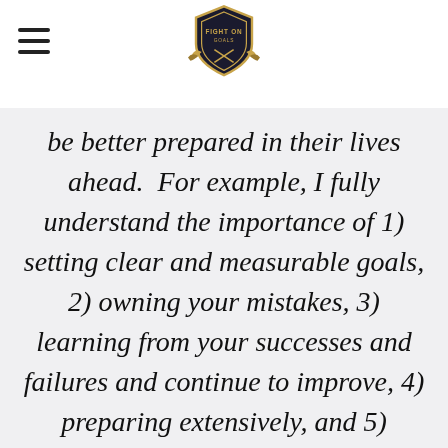[Fight On Goals logo]
be better prepared in their lives ahead.  For example, I fully understand the importance of 1) setting clear and measurable goals, 2) owning your mistakes, 3) learning from your successes and failures and continue to improve, 4) preparing extensively, and 5) knowing